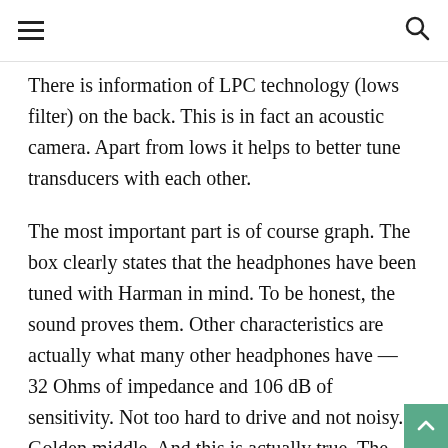≡  🔍
There is information of LPC technology (lows filter) on the back. This is in fact an acoustic camera. Apart from lows it helps to better tune transducers with each other.
The most important part is of course graph. The box clearly states that the headphones have been tuned with Harman in mind. To be honest, the sound proves them. Other characteristics are actually what many other headphones have — 32 Ohms of impedance and 106 dB of sensitivity. Not too hard to drive and not noisy. Golden middle. And this is actually true. The headphones do not